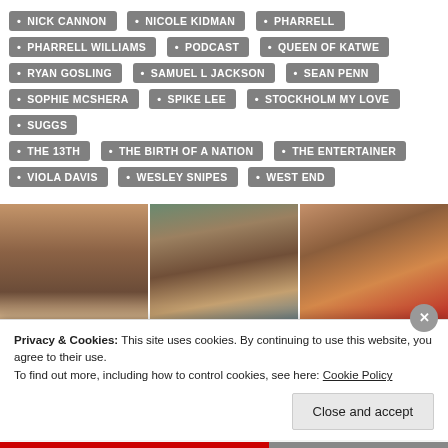NICK CANNON
NICOLE KIDMAN
PHARRELL
PHARRELL WILLIAMS
PODCAST
QUEEN OF KATWE
RYAN GOSLING
SAMUEL L JACKSON
SEAN PENN
SOPHIE MCSHERA
SPIKE LEE
STOCKHOLM MY LOVE
SUGGS
THE 13TH
THE BIRTH OF A NATION
THE ENTERTAINER
VIOLA DAVIS
WESLEY SNIPES
WEST END
[Figure (photo): Three celebrity/actor photos side by side: a woman with brown hair, a man with curly brown hair and beard, and a woman with highlighted hair]
Privacy & Cookies: This site uses cookies. By continuing to use this website, you agree to their use. To find out more, including how to control cookies, see here: Cookie Policy